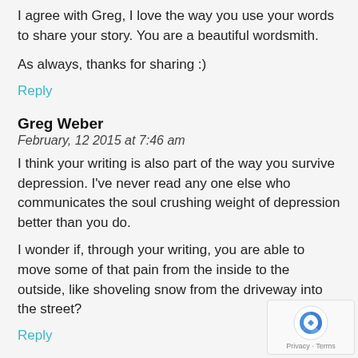I agree with Greg, I love the way you use your words to share your story. You are a beautiful wordsmith.
As always, thanks for sharing :)
Reply
Greg Weber
February, 12 2015 at 7:46 am
I think your writing is also part of the way you survive depression. I've never read any one else who communicates the soul crushing weight of depression better than you do.
I wonder if, through your writing, you are able to move some of that pain from the inside to the outside, like shoveling snow from the driveway into the street?
Reply
Erin Schulthies
February, 14 2015 at 5:42 pm